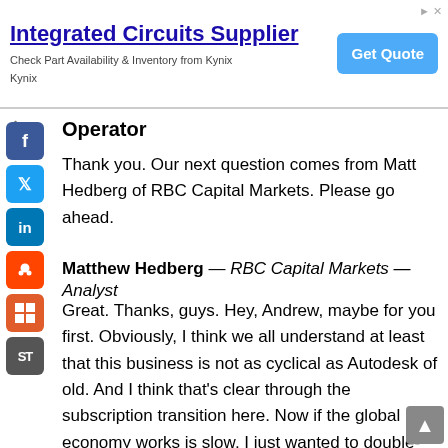[Figure (other): Advertisement banner: Integrated Circuits Supplier — Check Part Availability & Inventory from Kynix Kynix — with a blue 'Get Quote' button]
Operator
Thank you. Our next question comes from Matt Hedberg of RBC Capital Markets. Please go ahead.
Matthew Hedberg — RBC Capital Markets — Analyst
Great. Thanks, guys. Hey, Andrew, maybe for you first. Obviously, I think we all understand at least that this business is not as cyclical as Autodesk of old. And I think that's clear through the subscription transition here. Now if the global economy works is slow, I just wanted to double-click on really the value of your subscriptions and why those renewal rates could be better than a lot...